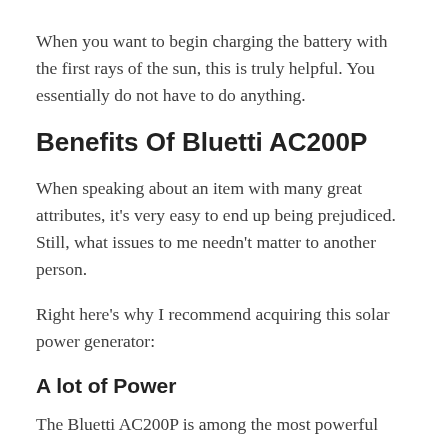When you want to begin charging the battery with the first rays of the sun, this is truly helpful. You essentially do not have to do anything.
Benefits Of Bluetti AC200P
When speaking about an item with many great attributes, it's very easy to end up being prejudiced. Still, what issues to me needn't matter to another person.
Right here's why I recommend acquiring this solar power generator:
A lot of Power
The Bluetti AC200P is among the most powerful